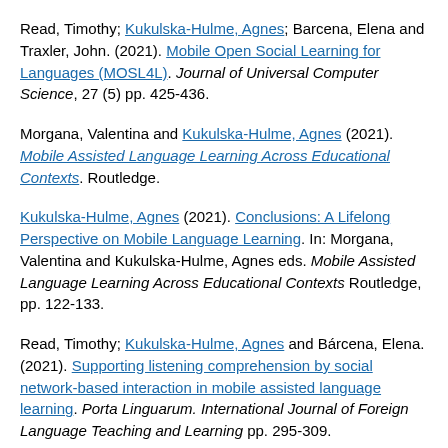Read, Timothy; Kukulska-Hulme, Agnes; Barcena, Elena and Traxler, John. (2021). Mobile Open Social Learning for Languages (MOSL4L). Journal of Universal Computer Science, 27 (5) pp. 425-436.
Morgana, Valentina and Kukulska-Hulme, Agnes (2021). Mobile Assisted Language Learning Across Educational Contexts. Routledge.
Kukulska-Hulme, Agnes (2021). Conclusions: A Lifelong Perspective on Mobile Language Learning. In: Morgana, Valentina and Kukulska-Hulme, Agnes eds. Mobile Assisted Language Learning Across Educational Contexts Routledge, pp. 122-133.
Read, Timothy; Kukulska-Hulme, Agnes and Bárcena, Elena. (2021). Supporting listening comprehension by social network-based interaction in mobile assisted language learning. Porta Linguarum. International Journal of Foreign Language Teaching and Learning pp. 295-309.